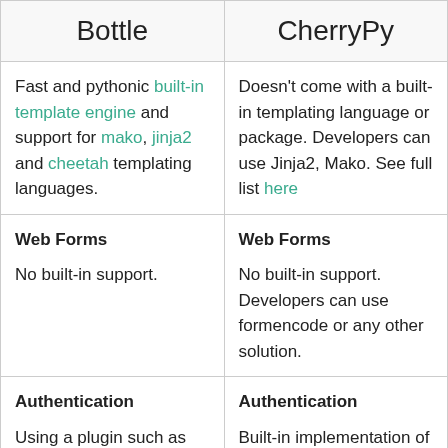| Bottle | CherryPy |
| --- | --- |
| Fast and pythonic built-in template engine and support for mako, jinja2 and cheetah templating languages. | Doesn’t come with a built-in templating language or package. Developers can use Jinja2, Mako. See full list here |
| Web Forms
No built-in support. | Web Forms
No built-in support. Developers can use formencode or any other solution. |
| Authentication
Using a plugin such as Bottle-Cork | Authentication
Built-in implementation of HTTP Basic Access |